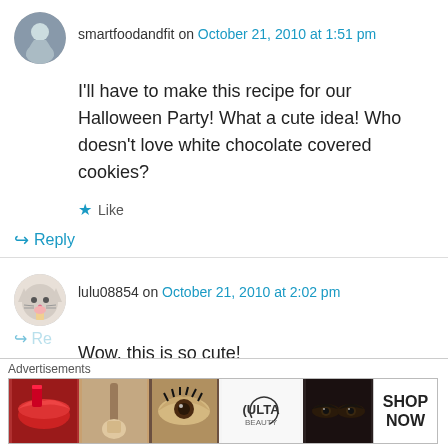smartfoodandfit on October 21, 2010 at 1:51 pm
I'll have to make this recipe for our Halloween Party! What a cute idea! Who doesn't love white chocolate covered cookies?
Like
Reply
lulu08854 on October 21, 2010 at 2:02 pm
Wow, this is so cute!
Like
Reply
[Figure (infographic): Advertisement banner for ULTA beauty showing lipstick, makeup brush, eye with mascara, ULTA logo, smoky eye, and SHOP NOW call to action]
Advertisements